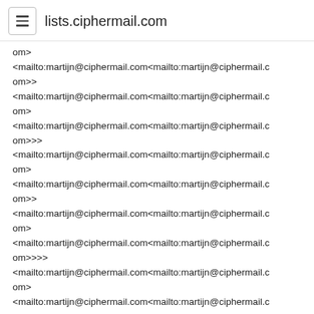lists.ciphermail.com
om>
<mailto:martijn@ciphermail.com<mailto:martijn@ciphermail.com>>
<mailto:martijn@ciphermail.com<mailto:martijn@ciphermail.com>
<mailto:martijn@ciphermail.com<mailto:martijn@ciphermail.com>>>
<mailto:martijn@ciphermail.com<mailto:martijn@ciphermail.com>
<mailto:martijn@ciphermail.com<mailto:martijn@ciphermail.com>>
<mailto:martijn@ciphermail.com<mailto:martijn@ciphermail.com>
<mailto:martijn@ciphermail.com<mailto:martijn@ciphermail.com>>>>
<mailto:martijn@ciphermail.com<mailto:martijn@ciphermail.com>
<mailto:martijn@ciphermail.com<mailto:martijn@ciphermail.com>>
<mailto:martijn@ciphermail.com<mailto:martijn@ciphermail.com>